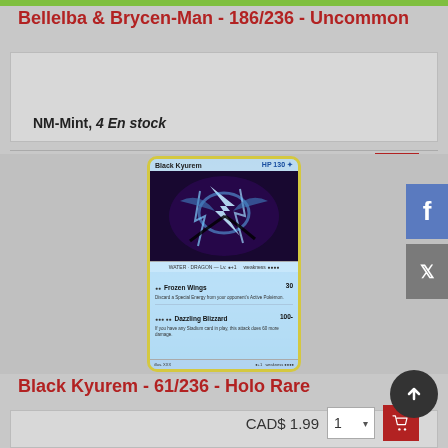Bellelba & Brycen-Man - 186/236 - Uncommon
NM-Mint, 4 En stock
CAD$ 1.99  1▾  🛒
[Figure (photo): Pokemon trading card - Black Kyurem with 130 HP, showing moves Frozen Wings (30 damage) and Dazzling Blizzard (100 damage)]
Black Kyurem - 61/236 - Holo Rare
NM-Mint, 1 En stock
CAD$ 1.99  1▾  🛒